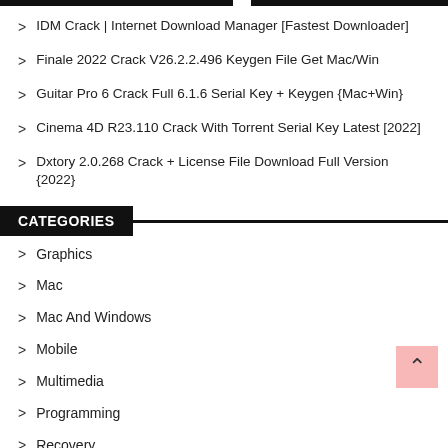IDM Crack | Internet Download Manager [Fastest Downloader]
Finale 2022 Crack V26.2.2.496 Keygen File Get Mac/Win
Guitar Pro 6 Crack Full 6.1.6 Serial Key + Keygen {Mac+Win}
Cinema 4D R23.110 Crack With Torrent Serial Key Latest [2022]
Dxtory 2.0.268 Crack + License File Download Full Version {2022}
CATEGORIES
Graphics
Mac
Mac And Windows
Mobile
Multimedia
Programming
Recovery